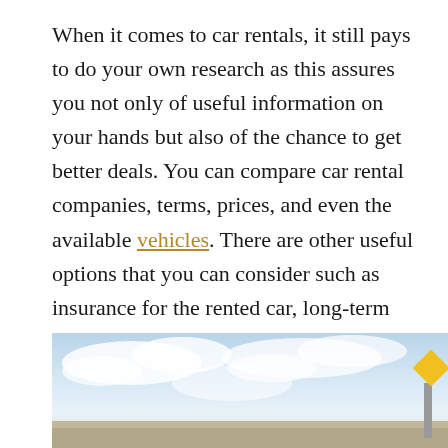When it comes to car rentals, it still pays to do your own research as this assures you not only of useful information on your hands but also of the chance to get better deals. You can compare car rental companies, terms, prices, and even the available vehicles. There are other useful options that you can consider such as insurance for the rented car, long-term contracts and more. This tip is especially useful if you are in a foreign country where business terms differ from those in your local area.
[Figure (photo): A photo showing a sky with clouds and a road scene, with a yellow diamond-shaped road sign visible at the right edge.]